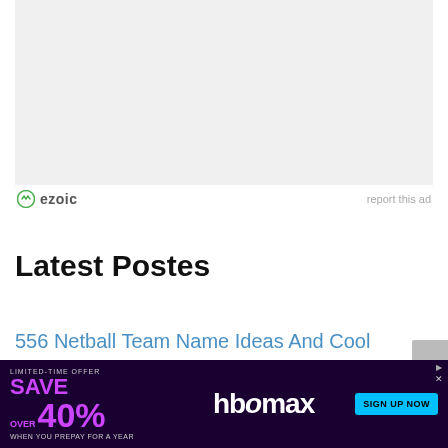[Figure (other): Top ad banner placeholder — light gray rectangle]
ezoic    report this ad
Latest Postes
556 Netball Team Name Ideas And Cool Suggestions
778 Music Blog Name Ideas And Cool Suggestions
420 Travel Business Name Ideas
[Figure (other): HBO Max advertisement banner — limited-time offer, save over 40%, sign up now]